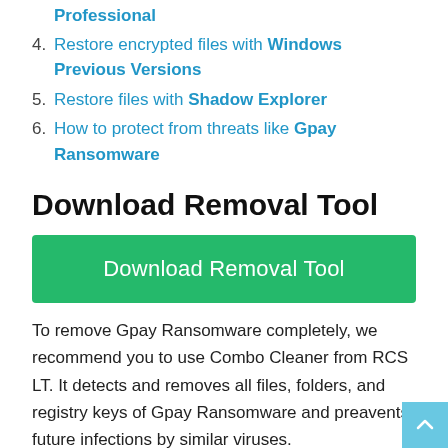Professional
4. Restore encrypted files with Windows Previous Versions
5. Restore files with Shadow Explorer
6. How to protect from threats like Gpay Ransomware
Download Removal Tool
[Figure (other): Green button labeled 'Download Removal Tool']
To remove Gpay Ransomware completely, we recommend you to use Combo Cleaner from RCS LT. It detects and removes all files, folders, and registry keys of Gpay Ransomware and preavents future infections by similar viruses.
Alternative Removal Tool